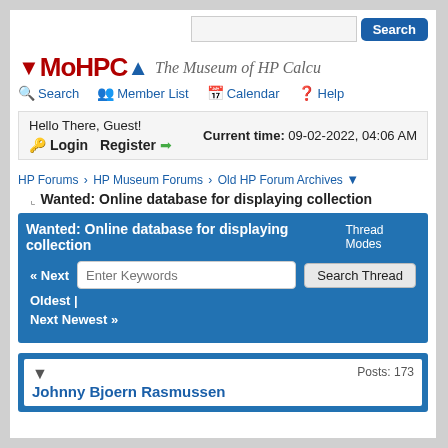Search
[Figure (logo): MoHPCA logo with red and blue arrows and text 'The Museum of HP Calcu...']
Search | Member List | Calendar | Help
Hello There, Guest! Current time: 09-02-2022, 04:06 AM Login Register
HP Forums › HP Museum Forums › Old HP Forum Archives
Wanted: Online database for displaying collection
Wanted: Online database for displaying collection Thread Modes
« Next Oldest | Next Newest » Enter Keywords Search Thread
Johnny Bjoern Rasmussen Posts: 173